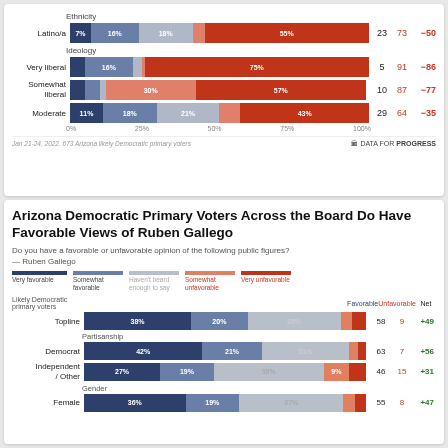[Figure (stacked-bar-chart): Ethnicity / Ideology breakdown]
Jan 21-24, 2022. 673 Arizona likely Democratic primary voters
Arizona Democratic Primary Voters Across the Board Do Have Favorable Views of Ruben Gallego
Do you have a favorable or unfavorable opinion of the following public figures?
— Ruben Gallego
[Figure (stacked-bar-chart): Ruben Gallego Favorability]